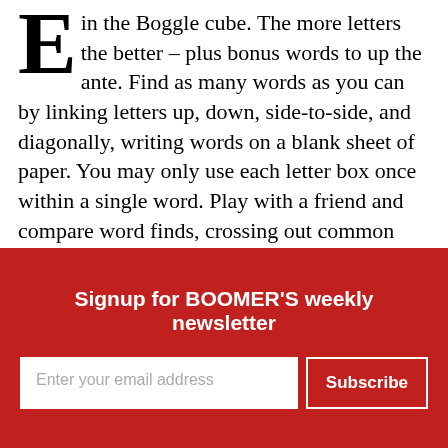in the Boggle cube. The more letters the better – plus bonus words to up the ante. Find as many words as you can by linking letters up, down, side-to-side, and diagonally, writing words on a blank sheet of paper. You may only use each letter box once within a single word. Play with a friend and compare word finds, crossing out common words. Up this week, the Boggle game search for game – mammals, that is.
[Figure (logo): Boggle Brain Busters logo with letter grid showing B U P H / W O I S / G O K E / A G L M and point scale instructions]
Signup for BOOMER'S weekly newsletter
Enter your email address
Subscribe